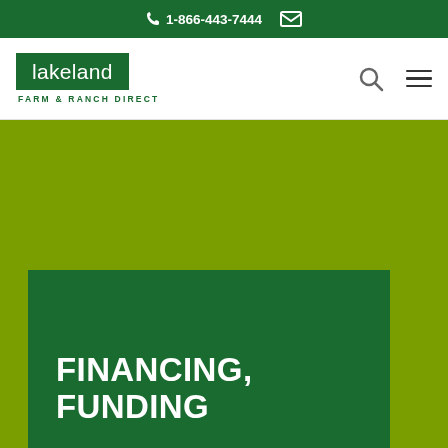1-866-443-7444
[Figure (logo): Lakeland Farm & Ranch Direct logo — white lowercase 'lakeland' text on dark green rectangle, with 'FARM & RANCH DIRECT' tagline below in dark green uppercase letters]
FINANCING, FUNDING